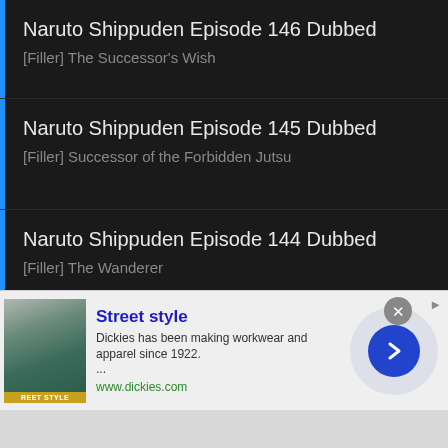Naruto Shippuden Episode 146 Dubbed
[Filler] The Successor's Wish
Naruto Shippuden Episode 145 Dubbed
[Filler] Successor of the Forbidden Jutsu
Naruto Shippuden Episode 144 Dubbed
[Filler] The Wanderer
Naruto Shippuden Episode 143 Dubbed
Eight-Tails vs. Sasuke
Naruto Shippuden Episode 142 Dubbed
The Battle at Thunder Cloud Gorge
Naruto Shippuden Episode 141 Dubbed
Truth
[Figure (screenshot): Advertisement banner: Street style - Dickies has been making workwear and apparel since 1922. www.dickies.com]